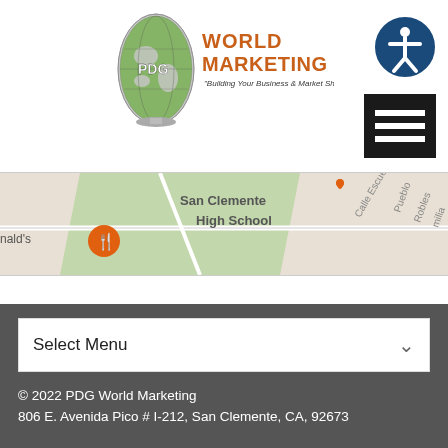[Figure (logo): PDG World Marketing logo with globe graphic and text 'Building Your Business & Market Share']
[Figure (other): Accessibility icon - person in circle on dark blue background]
[Figure (other): Hamburger menu button - three horizontal white bars on black background]
[Figure (map): Google Maps partial screenshot showing San Clemente High School area, McDonald's marker, and street names including Calle Escuela, Pueblo Robles, and Familia]
[Figure (other): Select Menu dropdown interface element with chevron]
© 2022 PDG World Marketing
806 E. Avenida Pico # I-212, San Clemente, CA, 92673